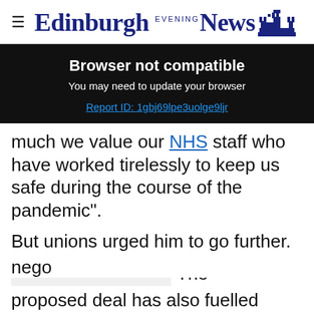Edinburgh Evening News
[Figure (screenshot): Browser not compatible banner with dark background. Title: 'Browser not compatible'. Subtitle: 'You may need to update your browser'. Link: 'Report ID: 1gbj69lpe3uolge9ljr']
much we value our NHS staff who have worked tirelessly to keep us safe during the course of the pandemic”.
But unions urged him to go further.
The proposed deal has also fuelled anger among
polic... pay nego...
[Figure (screenshot): Bottom advertisement bar: Pop in & Shop New Arrivals - World Market, with red play button and blue navigation diamond icon]